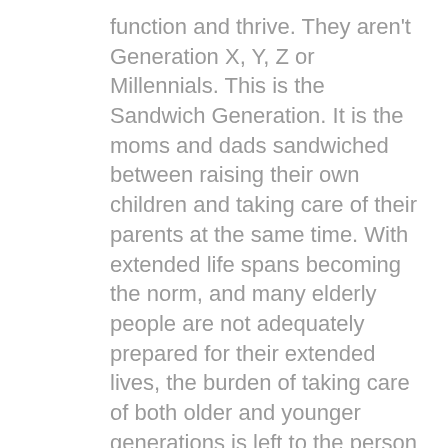function and thrive. They aren't Generation X, Y, Z or Millennials. This is the Sandwich Generation. It is the moms and dads sandwiched between raising their own children and taking care of their parents at the same time. With extended life spans becoming the norm, and many elderly people are not adequately prepared for their extended lives, the burden of taking care of both older and younger generations is left to the person that is caught in the middle.
The fastest growing segment of our population, according to the US Census Bureau, is the Centenarian (100 year olds). It is estimated that between now and the year 2040, the Centenarian